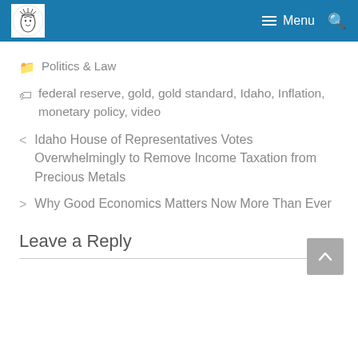Menu
Politics & Law
federal reserve, gold, gold standard, Idaho, Inflation, monetary policy, video
< Idaho House of Representatives Votes Overwhelmingly to Remove Income Taxation from Precious Metals
> Why Good Economics Matters Now More Than Ever
Leave a Reply